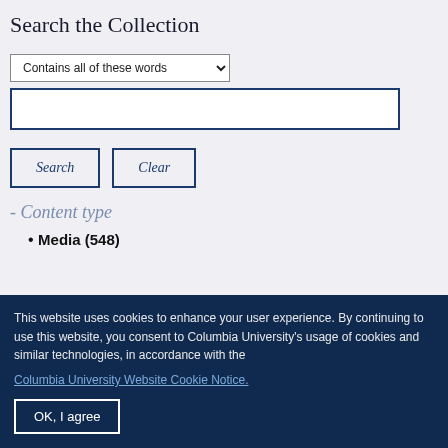Search the Collection
Contains all of these words
Search | Clear
- Content type
Media (548)
This website uses cookies to enhance your user experience. By continuing to use this website, you consent to Columbia University's usage of cookies and similar technologies, in accordance with the
Columbia University Website Cookie Notice.
OK, I agree